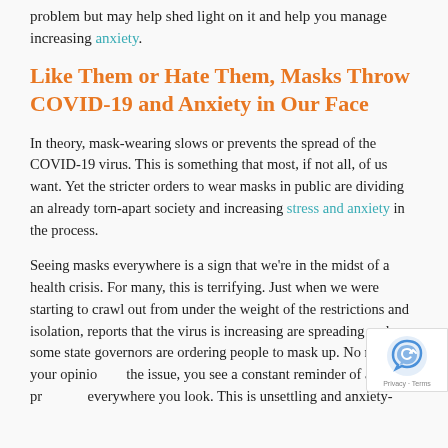problem but may help shed light on it and help you manage increasing anxiety.
Like Them or Hate Them, Masks Throw COVID-19 and Anxiety in Our Face
In theory, mask-wearing slows or prevents the spread of the COVID-19 virus. This is something that most, if not all, of us want. Yet the stricter orders to wear masks in public are dividing an already torn-apart society and increasing stress and anxiety in the process.
Seeing masks everywhere is a sign that we're in the midst of a health crisis. For many, this is terrifying. Just when we were starting to crawl out from under the weight of the restrictions and isolation, reports that the virus is increasing are spreading and some state governors are ordering people to mask up. No matter your opinion on the issue, you see a constant reminder of all the problems everywhere you look. This is unsettling and anxiety-